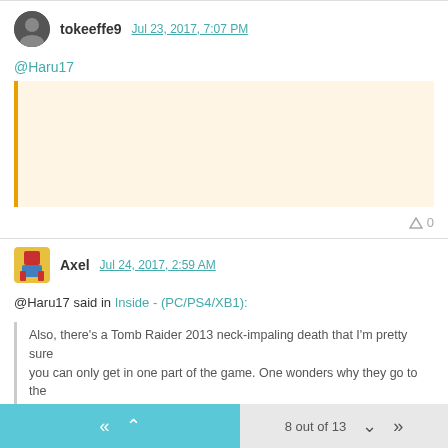tokeeffe9 Jul 23, 2017, 7:07 PM
@Haru17
[Figure (other): Quoted block with orange left border and light yellow/cream background, content not visible]
^ 0
Axel Jul 24, 2017, 2:59 AM
@Haru17 said in Inside - (PC/PS4/XB1):
Also, there's a Tomb Raider 2013 neck-impaling death that I'm pretty sure you can only get in one part of the game. One wonders why they go to the
8 out of 13